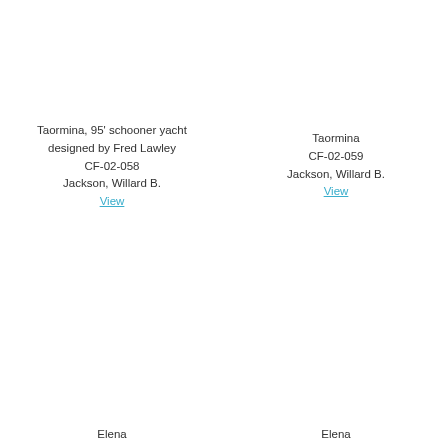Taormina, 95' schooner yacht designed by Fred Lawley
CF-02-058
Jackson, Willard B.
View
Taormina
CF-02-059
Jackson, Willard B.
View
Elena
Elena